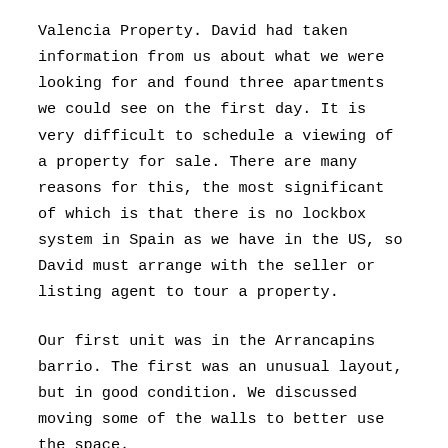Valencia Property. David had taken information from us about what we were looking for and found three apartments we could see on the first day. It is very difficult to schedule a viewing of a property for sale. There are many reasons for this, the most significant of which is that there is no lockbox system in Spain as we have in the US, so David must arrange with the seller or listing agent to tour a property.
Our first unit was in the Arrancapins barrio. The first was an unusual layout, but in good condition. We discussed moving some of the walls to better use the space.